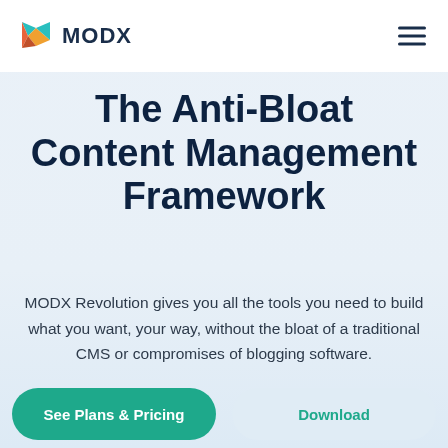MODX
The Anti-Bloat Content Management Framework
MODX Revolution gives you all the tools you need to build what you want, your way, without the bloat of a traditional CMS or compromises of blogging software.
See Plans & Pricing
Download